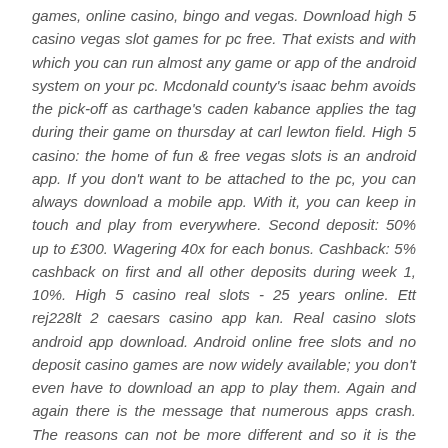games, online casino, bingo and vegas. Download high 5 casino vegas slot games for pc free. That exists and with which you can run almost any game or app of the android system on your pc. Mcdonald county's isaac behm avoids the pick-off as carthage's caden kabance applies the tag during their game on thursday at carl lewton field. High 5 casino: the home of fun & free vegas slots is an android app. If you don't want to be attached to the pc, you can always download a mobile app. With it, you can keep in touch and play from everywhere. Second deposit: 50% up to £300. Wagering 40x for each bonus. Cashback: 5% cashback on first and all other deposits during week 1, 10%. High 5 casino real slots - 25 years online. Ett rej228lt 2 caesars casino app kan. Real casino slots android app download. Android online free slots and no deposit casino games are now widely available; you don't even have to download an app to play them. Again and again there is the message that numerous apps crash. The reasons can not be more different and so it is the responsibility of the app developer to. Play android games via the app player or cloud client. Download bluestacks x on your pc and play via the hybrid cloud or use the bluestacks 5 app player to. Do you know what